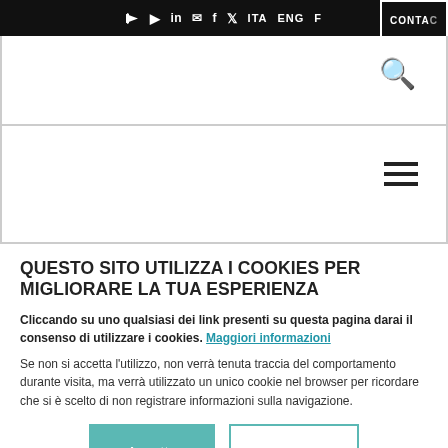▶ in ✉ f 𝕏 ITA ENG F CONTAC
[Figure (screenshot): Website header with search icon and navigation area with hamburger menu]
QUESTO SITO UTILIZZA I COOKIES PER MIGLIORARE LA TUA ESPERIENZA
Cliccando su uno qualsiasi dei link presenti su questa pagina darai il consenso di utilizzare i cookies. Maggiori informazioni
Se non si accetta l'utilizzo, non verrà tenuta traccia del comportamento durante visita, ma verrà utilizzato un unico cookie nel browser per ricordare che si è scelto di non registrare informazioni sulla navigazione.
Accetto | Rifiuto